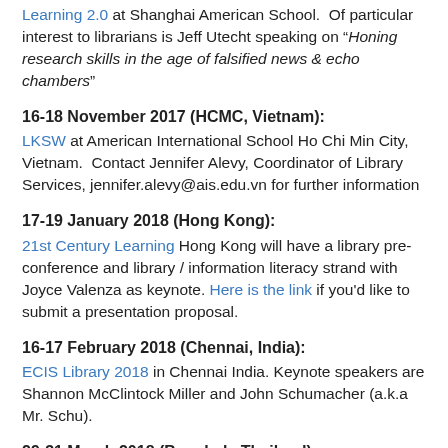Learning 2.0 at Shanghai American School. Of particular interest to librarians is Jeff Utecht speaking on "Honing research skills in the age of falsified news & echo chambers"
16-18 November 2017 (HCMC, Vietnam):
LKSW at American International School Ho Chi Min City, Vietnam. Contact Jennifer Alevy, Coordinator of Library Services, jennifer.alevy@ais.edu.vn for further information
17-19 January 2018 (Hong Kong):
21st Century Learning Hong Kong will have a library pre-conference and library / information literacy strand with Joyce Valenza as keynote. Here is the link if you'd like to submit a presentation proposal.
16-17 February 2018 (Chennai, India):
ECIS Library 2018 in Chennai India. Keynote speakers are Shannon McClintock Miller and John Schumacher (a.k.a Mr. Schu).
29-31 March 2018 (Bangkok, Thailand):
EARCOS Teachers' Conference in Bangkok. Diane